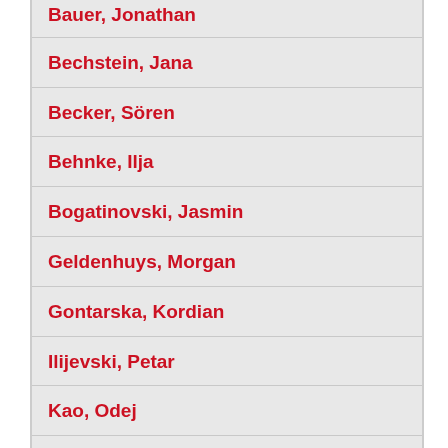Bauer, Jonathan
Bechstein, Jana
Becker, Sören
Behnke, Ilja
Bogatinovski, Jasmin
Geldenhuys, Morgan
Gontarska, Kordian
Ilijevski, Petar
Kao, Odej
Kitanova, Britta
Dr. Nodelkoski, Sasho